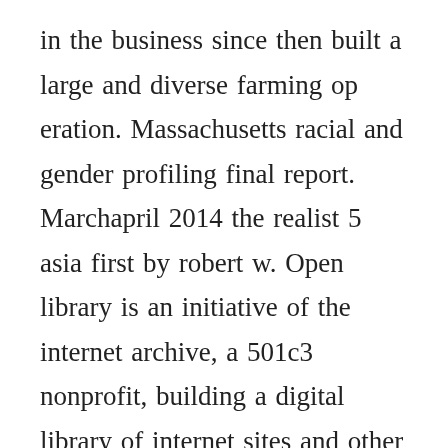in the business since then built a large and diverse farming op eration. Massachusetts racial and gender profiling final report. Marchapril 2014 the realist 5 asia first by robert w. Open library is an initiative of the internet archive, a 501c3 nonprofit, building a digital library of internet sites and other cultural artifacts in digital form. Here s women s fullzip hoodie mockup set that will serve as a wonderful guide to yield the best and gorgeous hoodie for women. Encourage students to deepen their understanding of the